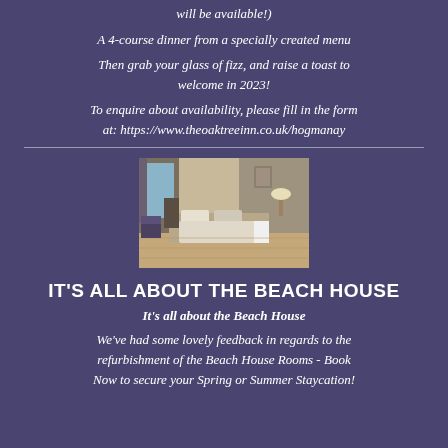will be available!)
A 4-course dinner from a specially created menu
Then grab your glass of fizz, and raise a toast to welcome in 2023!
To enquire about availability, please fill in the form at: https://www.theoaktreeinn.co.uk/hogmanay
[Figure (photo): Hotel bedroom with double bed, lamp, and window with view]
IT'S ALL ABOUT THE BEACH HOUSE
It's all about the Beach House
We've had some lovely feedback in regards to the refurbishment of the Beach House Rooms - Book Now to secure your Spring or Summer Staycation!